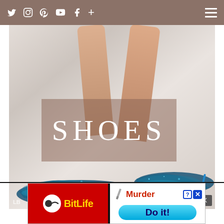Social media navigation icons: Twitter, Instagram, Pinterest, YouTube, Facebook, Plus, Hamburger menu
[Figure (photo): Woman's legs wearing sparkly teal/blue glitter stiletto high heel pumps on a white fur background, with text overlay 'SHOES' in white serif letters on a semi-transparent brownish rectangle]
LB
Close X
[Figure (screenshot): BitLife mobile game advertisement showing red background with BitLife logo on left and 'Murder Do it!' call-to-action on right with teal button]